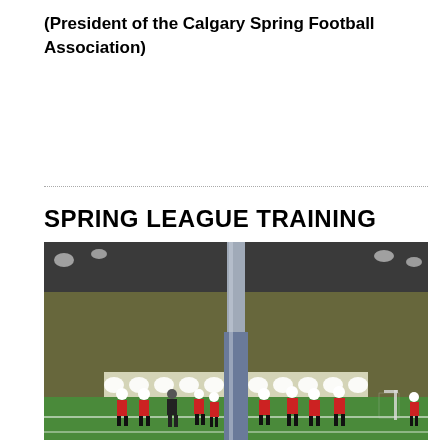(President of the Calgary Spring Football Association)
SPRING LEAGUE TRAINING
[Figure (photo): Indoor football training session at an indoor sports facility with artificial turf. Players in red jerseys and white helmets are practicing on the green field. A large padded post is prominent in the center foreground. The facility has high ceilings with industrial lighting and netting on the walls.]